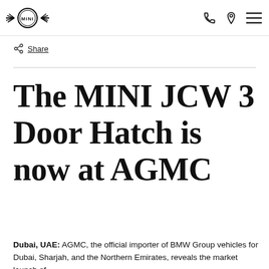MINI logo and navigation icons (phone, location, menu)
Share
The MINI JCW 3 Door Hatch is now at AGMC
Dubai, UAE: AGMC, the official importer of BMW Group vehicles for Dubai, Sharjah, and the Northern Emirates, reveals the market launch of